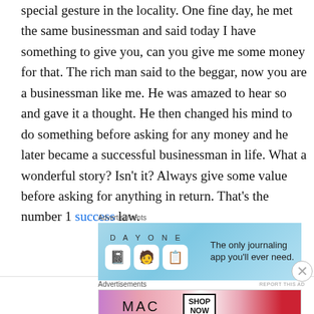special gesture in the locality. One fine day, he met the same businessman and said today I have something to give you, can you give me some money for that. The rich man said to the beggar, now you are a businessman like me. He was amazed to hear so and gave it a thought. He then changed his mind to do something before asking for any money and he later became a successful businessman in life. What a wonderful story? Isn't it? Always give some value before asking for anything in return. That's the number 1 success law.
[Figure (screenshot): Advertisement banner for DayOne journaling app with light blue background, app icons, and tagline 'The only journaling app you'll ever need.']
[Figure (screenshot): Advertisement banner for MAC cosmetics showing lipsticks and 'SHOP NOW' button.]